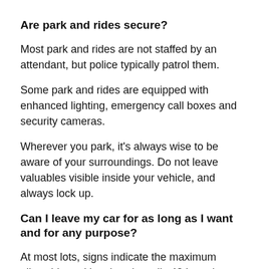Are park and rides secure?
Most park and rides are not staffed by an attendant, but police typically patrol them.
Some park and rides are equipped with enhanced lighting, emergency call boxes and security cameras.
Wherever you park, it's always wise to be aware of your surroundings. Do not leave valuables visible inside your vehicle, and always lock up.
Can I leave my car for as long as I want and for any purpose?
At most lots, signs indicate the maximum allowable parking time (usually 48 hours). Maximum parking